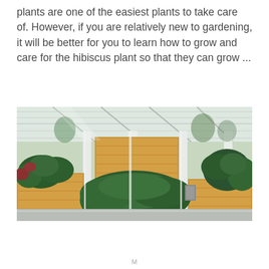plants are one of the easiest plants to take care of. However, if you are relatively new to gardening, it will be better for you to learn how to grow and care for the hibiscus plant so that they can grow ...
[Figure (photo): Interior of a greenhouse or botanical garden building with large glass roof panels, wooden planter boxes, green tropical plants and foliage, white structural columns, and natural light streaming through the glass ceiling.]
M